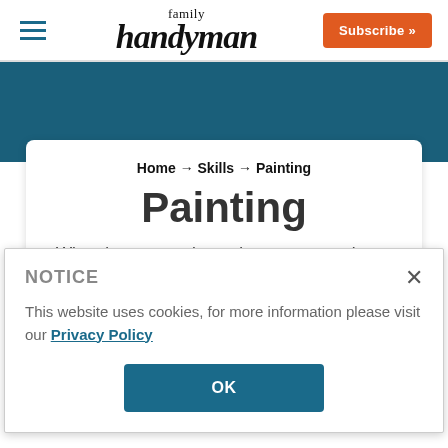family handyman — Subscribe >>
[Figure (screenshot): Blue banner background behind content card]
Home → Skills → Painting
Painting
When it comes to home improvement, there
NOTICE
This website uses cookies, for more information please visit our Privacy Policy
OK